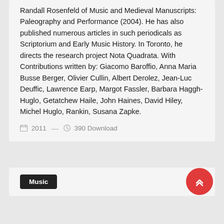Randall Rosenfeld of Music and Medieval Manuscripts: Paleography and Performance (2004). He has also published numerous articles in such periodicals as Scriptorium and Early Music History. In Toronto, he directs the research project Nota Quadrata. With Contributions written by: Giacomo Baroffio, Anna Maria Busse Berger, Olivier Cullin, Albert Derolez, Jean-Luc Deuffic, Lawrence Earp, Margot Fassler, Barbara Haggh-Huglo, Getatchew Haile, John Haines, David Hiley, Michel Huglo, Rankin, Susana Zapke.
2011 — 390 Download
Music